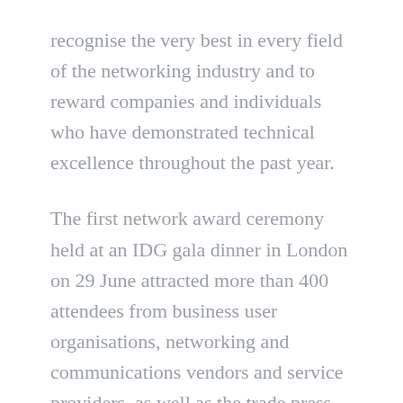recognise the very best in every field of the networking industry and to reward companies and individuals who have demonstrated technical excellence throughout the past year.
The first network award ceremony held at an IDG gala dinner in London on 29 June attracted more than 400 attendees from business user organisations, networking and communications vendors and service providers, as well as the trade press.
While being selected winner of the